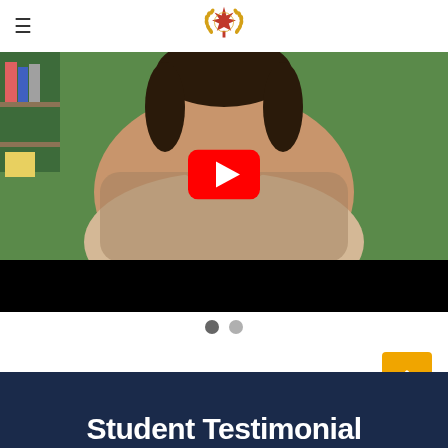≡ [Logo: maple leaf / world emblem]
[Figure (screenshot): YouTube video thumbnail showing a woman in a beige top seated in a chair against a green wall, with a YouTube play button overlay in the center]
[Figure (other): Carousel navigation dots: two circles, first filled/active (dark grey), second lighter grey]
[Figure (other): Orange 'back to top' button with upward chevron arrow icon]
Student Testimonial